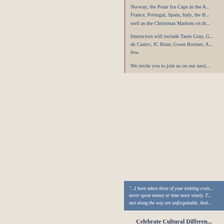Norway, the Polar Ice Caps in the A... France, Portugal, Spain, Italy, the B... well as the Christmas Markets on th...
Instructors will include Tanis Gray, G... de Castro, JC Briar, Gwen Bortner, A... few.
We invite you to join us on our next...
"...I have taken three of your knitting cruis... never spent money or time more wisely. T... met along the way are unforgettable. And...
Celebrate Cultural Differen...
At Craft Cruises®, we believe what... recognizing this, we are better able... impossible to duplicate traveling alo...
In addition to being affordable, cruis... groups make up only a small percen... family, friends, and loved ones can b... are often hundreds of fun activities t... that range from culinary classes and...